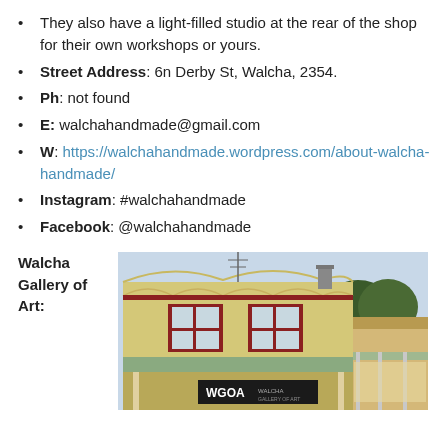They also have a light-filled studio at the rear of the shop for their own workshops or yours.
Street Address: 6n Derby St, Walcha, 2354.
Ph: not found
E: walchahandmade@gmail.com
W: https://walchahandmade.wordpress.com/about-walcha-handmade/
Instagram: #walchahandmade
Facebook: @walchahandmade
Walcha Gallery of Art:
[Figure (photo): Exterior photograph of a heritage-style yellow and red timber building with 'WGOA' signage, featuring decorative façade and verandah, with trees in the background.]